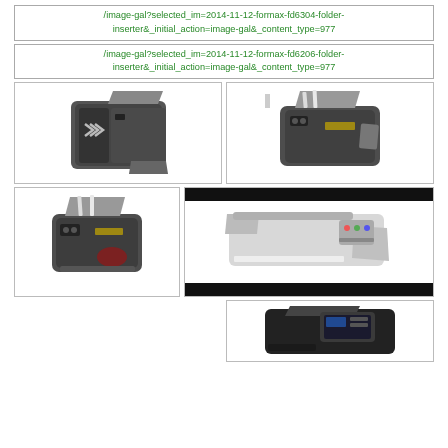/image-gal?selected_im=2014-11-12-formax-fd6304-folder-inserter&_initial_action=image-gal&_content_type=977
/image-gal?selected_im=2014-11-12-formax-fd6206-folder-inserter&_initial_action=image-gal&_content_type=977
[Figure (photo): Formax folder-inserter machine, dark grey, front-left view]
[Figure (photo): Formax folder-inserter machine, dark grey, front-right view with paper loaded]
[Figure (photo): Formax fd6206 folder-inserter machine, dark grey, side view with paper]
[Figure (photo): Formax folder-inserter machine, white/grey, top view with black redaction bars at top and bottom]
[Figure (photo): Formax folder-inserter machine, black, partial view from top-right]